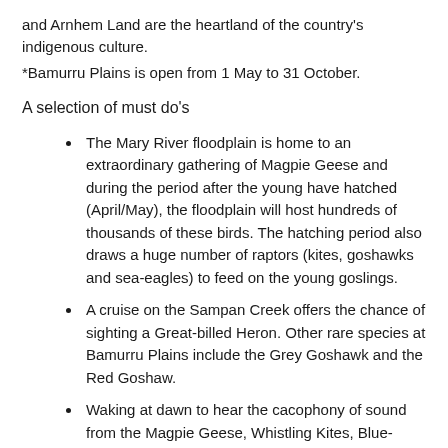and Arnhem Land are the heartland of the country's indigenous culture.
*Bamurru Plains is open from 1 May to 31 October.
A selection of must do's
The Mary River floodplain is home to an extraordinary gathering of Magpie Geese and during the period after the young have hatched (April/May), the floodplain will host hundreds of thousands of these birds. The hatching period also draws a huge number of raptors (kites, goshawks and sea-eagles) to feed on the young goslings.
A cruise on the Sampan Creek offers the chance of sighting a Great-billed Heron. Other rare species at Bamurru Plains include the Grey Goshawk and the Red Goshaw.
Waking at dawn to hear the cacophony of sound from the Magpie Geese, Whistling Kites, Blue-winged